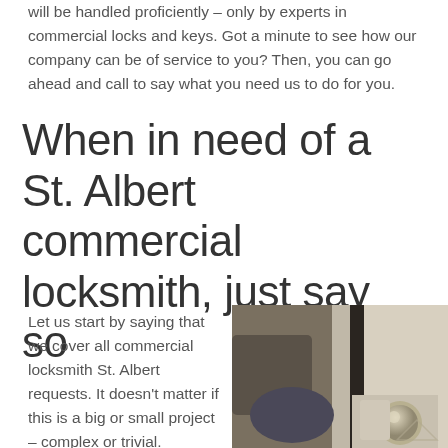will be handled proficiently – only by experts in commercial locks and keys. Got a minute to see how our company can be of service to you? Then, you can go ahead and call to say what you need us to do for you.
When in need of a St. Albert commercial locksmith, just say so
Let us start by saying that we cover all commercial locksmith St. Albert requests. It doesn't matter if this is a big or small project – complex or trivial.
[Figure (photo): A person near a commercial door with a lock/door knob visible in the foreground]